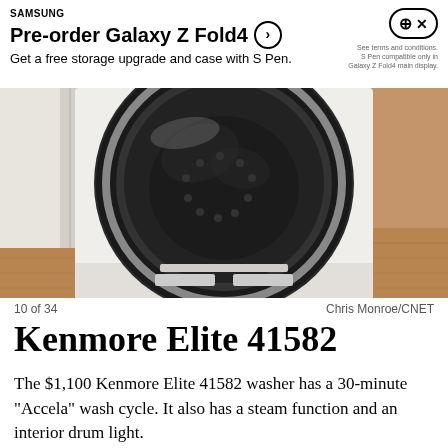[Figure (screenshot): Samsung advertisement banner: 'Pre-order Galaxy Z Fold4 – Get a free storage upgrade and case with S Pen.' with circle arrow icon and controller icon. Fine print about terms and Galaxy Z Fold4 main display.]
[Figure (photo): Photo of a Kenmore Elite 41582 front-load washing machine with glass door open, viewed from above, sitting on a wood floor. Photo credited to Chris Monroe/CNET.]
10 of 34    Chris Monroe/CNET
Kenmore Elite 41582
The $1,100 Kenmore Elite 41582 washer has a 30-minute "Accela" wash cycle. It also has a steam function and an interior drum light.